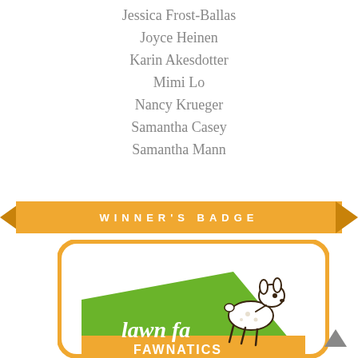Jessica Frost-Ballas
Joyce Heinen
Karin Akesdotter
Mimi Lo
Nancy Krueger
Samantha Casey
Samantha Mann
[Figure (illustration): Orange ribbon banner with 'WINNER'S BADGE' text in white spaced letters, with folded triangular ends on left and right.]
[Figure (logo): Lawn Fawnatics winner's badge: rounded rectangle with orange border, green diagonal banner with 'lawn fawn' script text and 'FAWNATICS' in orange banner below, with a cartoon fawn/deer illustration in upper right.]